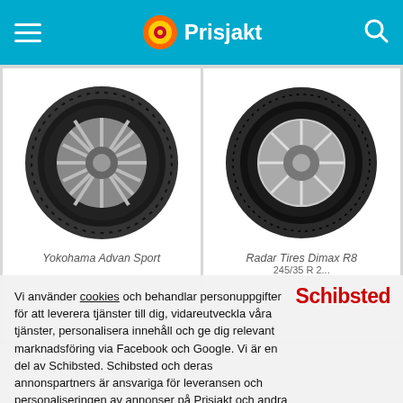Prisjakt
[Figure (photo): Product listing page showing two car tires: Yokohama Advan Sport and Radar Tires Dimax R8, on Prisjakt price comparison website]
Vi använder cookies och behandlar personuppgifter för att leverera tjänster till dig, vidareutveckla våra tjänster, personalisera innehåll och ge dig relevant marknadsföring via Facebook och Google. Vi är en del av Schibsted. Schibsted och deras annonspartners är ansvariga för leveransen och personaliseringen av annonser på Prisjakt och andra Schibstedsajter.
Acceptera
Mina val